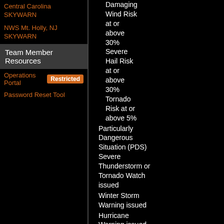Central Carolina SKYWARN
NWS Mt. Holly, NJ SKYWARN
Team Member Resources
Operations Portal  Restricted
Password Reset Tool
Outlook:
1. Damaging Wind Risk at or above 30%
2. Severe Hail Risk at or above 30%
3. Tornado Risk at or above 5%
2. Particularly Dangerous Situation (PDS) Severe Thunderstorm or Tornado Watch issued
3. Winter Storm Warning issued
4. Hurricane Warning issued
5. Tropical Storm...